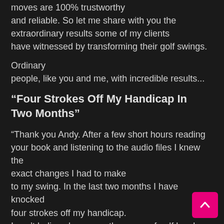moves are 100% trustworthy and reliable. So let me share with you the extraordinary results some of my clients have witnessed by transforming their golf swings.
Ordinary people, like you and me, with incredible results...
“Four Strokes Off My Handicap In Two Months”
“Thank you Andy. After a few short hours reading your book and listening to the audio files I knew the exact changes I had to make to my swing. In the last two months I have knocked four strokes off my handicap. I can't believe how easy the game of golf has bec... As long as I don’t forget